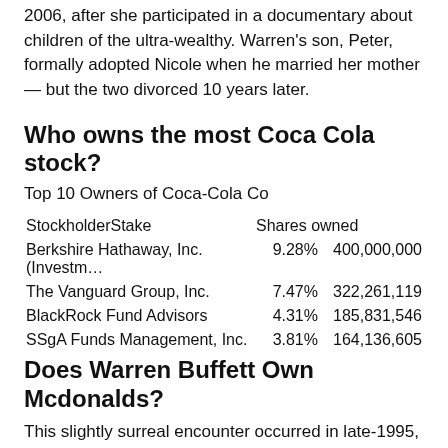2006, after she participated in a documentary about children of the ultra-wealthy. Warren's son, Peter, formally adopted Nicole when he married her mother — but the two divorced 10 years later.
Who owns the most Coca Cola stock?
Top 10 Owners of Coca-Cola Co
| Stockholder | Stake | Shares owned |
| --- | --- | --- |
| Berkshire Hathaway, Inc. (Investm… | 9.28% | 400,000,000 |
| The Vanguard Group, Inc. | 7.47% | 322,261,119 |
| BlackRock Fund Advisors | 4.31% | 185,831,546 |
| SSgA Funds Management, Inc. | 3.81% | 164,136,605 |
Does Warren Buffett Own Mcdonalds?
This slightly surreal encounter occurred in late-1995, and by the end of the following year Buffett's Berkshire Hathaway owned just over thirty million shares of McDonald's stock.